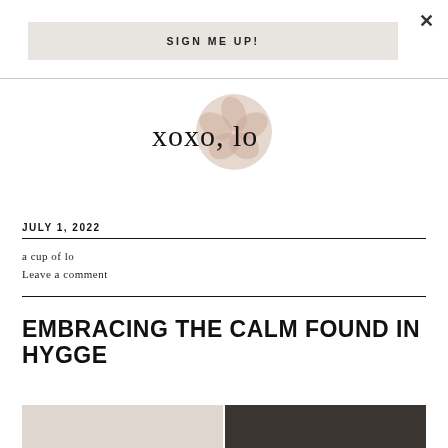×
SIGN ME UP!
[Figure (illustration): Handwritten script signature reading 'xoxo, lo' with a circular rose gold/peach decorative element behind it]
JULY 1, 2022
a cup of lo
Leave a comment
EMBRACING THE CALM FOUND IN HYGGE
[Figure (photo): Two-panel image strip at the bottom of the page; left panel shows a light interior scene, right panel shows a dark/moody scene]